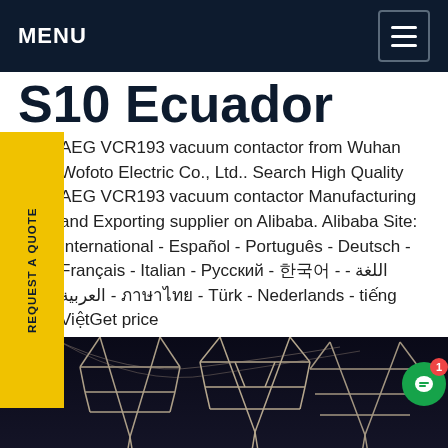MENU
S10 Ecuador
AEG VCR193 vacuum contactor from Wuhan Wofoto Electric Co., Ltd.. Search High Quality AEG VCR193 vacuum contactor Manufacturing and Exporting supplier on Alibaba. Alibaba Site: International - Español - Português - Deutsch - Français - Italian - Русский - 한국어 - - اللغة العربية - ภาษาไทย - Türk - Nederlands - tiếng ViệtGet price
[Figure (photo): Night photo of electrical power transmission towers/pylons with illuminated metal framework structure against dark sky, with industrial equipment in foreground]